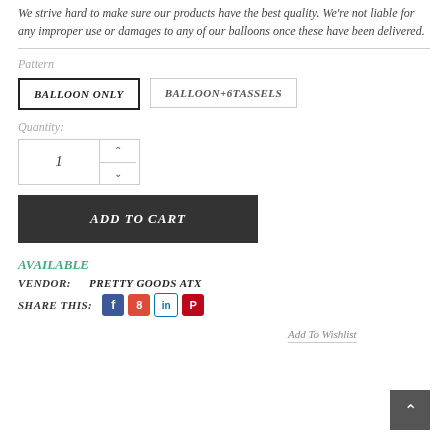We strive hard to make sure our products have the best quality. We're not liable for any improper use or damages to any of our balloons once these have been delivered.
Pattern
BALLOON ONLY
BALLOON+6TASSELS
Quantity:
1
ADD TO CART
Add To Wishlist
AVAILABLE
VENDOR:    PRETTY GOODS ATX
SHARE THIS: